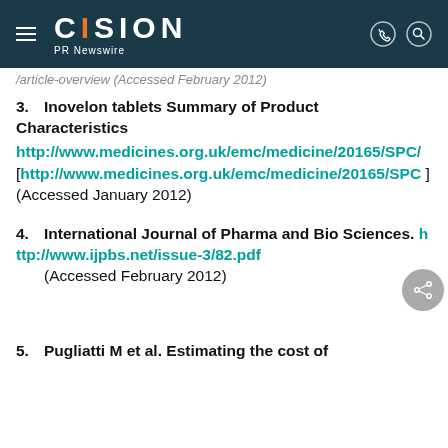CISION PR Newswire
/article-overview (Accessed February 2012)
3. Inovelon tablets Summary of Product Characteristics http://www.medicines.org.uk/emc/medicine/20165/SPC/ [http://www.medicines.org.uk/emc/medicine/20165/SPC ] (Accessed January 2012)
4. International Journal of Pharma and Bio Sciences. http://www.ijpbs.net/issue-3/82.pdf (Accessed February 2012)
5. Pugliatti M et al. Estimating the cost of